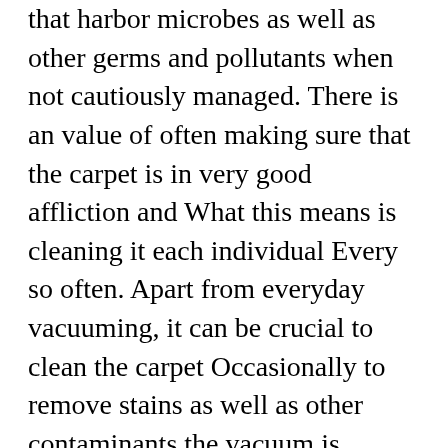that harbor microbes as well as other germs and pollutants when not cautiously managed. There is an value of often making sure that the carpet is in very good affliction and What this means is cleaning it each individual Every so often. Apart from everyday vacuuming, it can be crucial to clean the carpet Occasionally to remove stains as well as other contaminants the vacuum is unable to cleanse.
The cleaning process is just not as quick, especially if there is a substantial carpet with lengthy fibers and minimum amount Place from exactly where you are able to do the washing. On the other hand, carpet